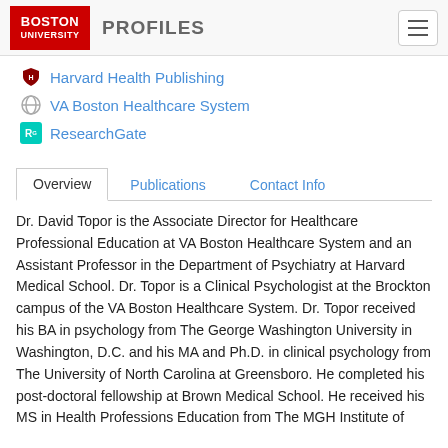Boston University Profiles
Harvard Health Publishing
VA Boston Healthcare System
ResearchGate
Overview | Publications | Contact Info
Dr. David Topor is the Associate Director for Healthcare Professional Education at VA Boston Healthcare System and an Assistant Professor in the Department of Psychiatry at Harvard Medical School. Dr. Topor is a Clinical Psychologist at the Brockton campus of the VA Boston Healthcare System. Dr. Topor received his BA in psychology from The George Washington University in Washington, D.C. and his MA and Ph.D. in clinical psychology from The University of North Carolina at Greensboro. He completed his post-doctoral fellowship at Brown Medical School. He received his MS in Health Professions Education from The MGH Institute of